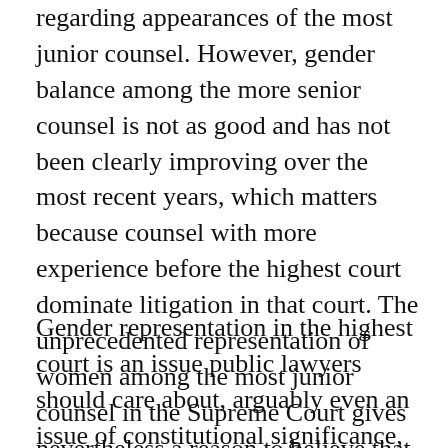regarding appearances of the most junior counsel. However, gender balance among the more senior counsel is not as good and has not been clearly improving over the most recent years, which matters because counsel with more experience before the highest court dominate litigation in that court. The unprecedented representation of women among the most junior counsel in the Supreme Court gives nevertheless a reason to believe that the situation will improve also among the more senior counsel.
Gender representation in the highest court is an issue public lawyers should care about, arguably even an issue of constitutional significance, for several reasons. First, appearing before the highest court is almost a rite of passage for future senior judiciary. 72% of the current Court of Appeal judges